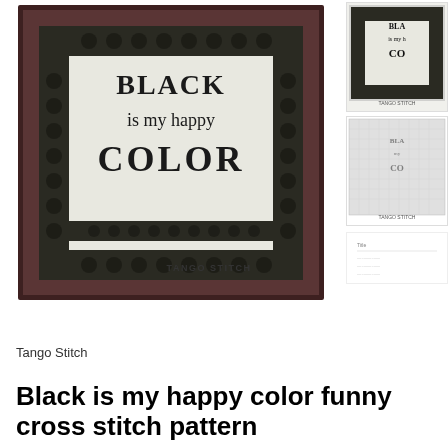[Figure (photo): Main product image showing a framed cross stitch artwork with decorative floral border, text reads 'BLACK is my happy COLOR' with 'TANGO STITCH' at bottom, displayed in a dark brown/maroon frame against white background. Three thumbnail images on the right side show alternate views of the same product.]
Tango Stitch
Black is my happy color funny cross stitch pattern